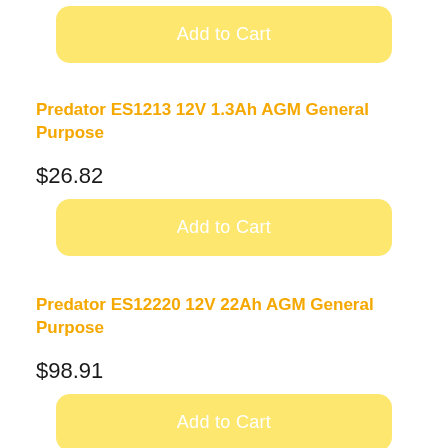[Figure (other): Add to Cart button at top of page (partially visible product above)]
Predator ES1213 12V 1.3Ah AGM General Purpose
$26.82
[Figure (other): Add to Cart button for Predator ES1213]
Predator ES12220 12V 22Ah AGM General Purpose
$98.91
[Figure (other): Add to Cart button for Predator ES12220]
Predator ES1223 12V 2.3Ah AGM